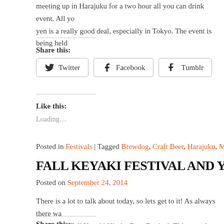meeting up in Harajuku for a two hour all you can drink event. All you yen is a really good deal, especially in Tokyo. The event is being held
Share this:
[Figure (other): Social share buttons: Twitter, Facebook, Tumblr]
Like this:
Loading...
Posted in Festivals | Tagged Brewdog, Craft Beer, Harajuku, Mikkelle
FALL KEYAKI FESTIVAL AND YO-HO B
Posted on September 24, 2014
There is a lot to talk about today, so lets get to it! As always there wa food at the Fall Keyaki Hiroba Beer Festival. This year there were a c impacted the enjoyment of the biggest collection of craft beer in the
Share this: